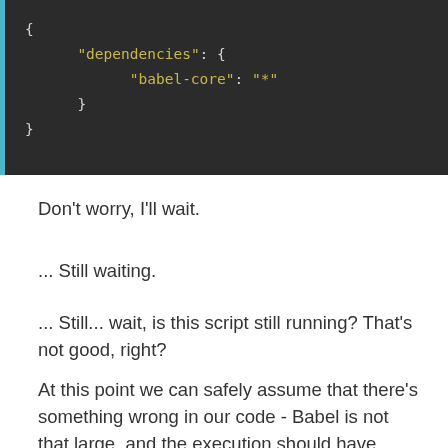[Figure (screenshot): Dark-themed code block showing JSON with dependencies containing babel-core set to '*']
Don't worry, I'll wait.
... Still waiting.
... Still... wait, is this script still running? That's not good, right?
At this point we can safely assume that there's something wrong in our code - Babel is not that large, and the execution should have stopped a long time ago. In order to better understand what happened, open the babel-core page on Yarnnkg